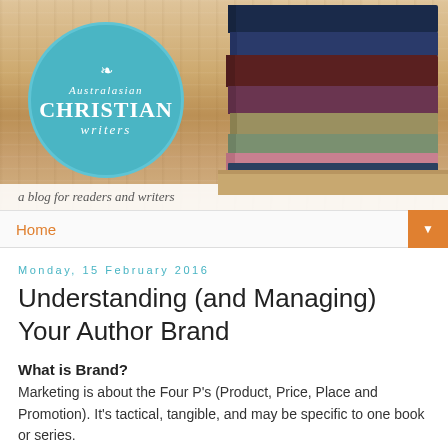[Figure (logo): Australasian Christian Writers blog header banner with teal circular logo on left and stack of books on right, wood-textured background, with tagline 'a blog for readers and writers']
Home
Monday, 15 February 2016
Understanding (and Managing) Your Author Brand
What is Brand?
Marketing is about the Four P's (Product, Price, Place and Promotion). It's tactical, tangible, and may be specific to one book or series.